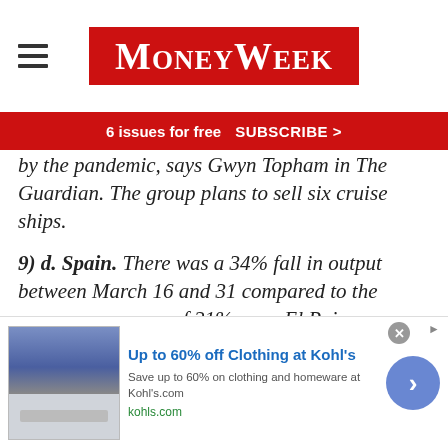MoneyWeek
6 issues for free  SUBSCRIBE >
by the pandemic, says Gwyn Topham in The Guardian. The group plans to sell six cruise ships.
9) d. Spain. There was a 34% fall in output between March 16 and 31 compared to the eurozone average of 21%, says El Pais
10) b. 10p. The average white British household has around £282,000 in wealth, including
[Figure (screenshot): Advertisement banner for Kohl's: Up to 60% off Clothing at Kohl's. Save up to 60% on clothing and homeware at Kohls.com. kohls.com]